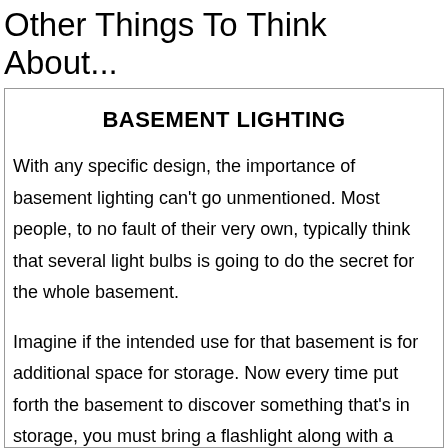Other Things To Think About...
BASEMENT LIGHTING
With any specific design, the importance of basement lighting can’t go unmentioned. Most people, to no fault of their very own, typically think that several light bulbs is going to do the secret for the whole basement.
Imagine if the intended use for that basement is for additional space for storage. Now every time put forth the basement to discover something that’s in storage, you must bring a flashlight along with a head lamp to dig